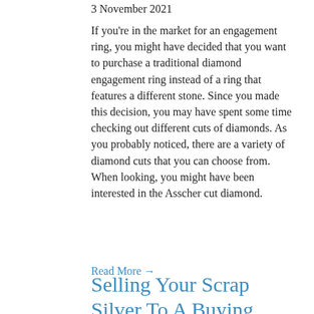3 November 2021
If you're in the market for an engagement ring, you might have decided that you want to purchase a traditional diamond engagement ring instead of a ring that features a different stone. Since you made this decision, you may have spent some time checking out different cuts of diamonds. As you probably noticed, there are a variety of diamond cuts that you can choose from. When looking, you might have been interested in the Asscher cut diamond.
Read More →
Selling Your Scrap Silver To A Buying Service